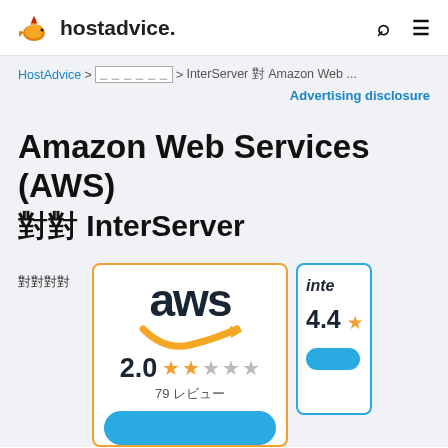hostadvice.
HostAdvice > 比較ホスティング > InterServer 対 Amazon Web ...
Advertising disclosure
Amazon Web Services (AWS) 対 InterServer
比較する
[Figure (logo): AWS card with orange border showing aws logo, 2.0 rating with 2 orange stars and 3 grey stars, 79 reviews]
[Figure (logo): InterServer card with blue border, partially visible, showing 4.4 rating with orange star]